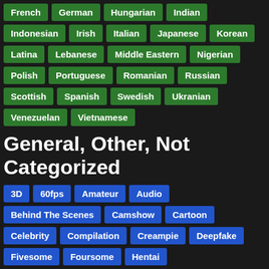French
German
Hungarian
Indian
Indonesian
Irish
Italian
Japanese
Korean
Latina
Lebanese
Middle Eastern
Nigerian
Polish
Portuguese
Romanian
Russian
Scottish
Spanish
Swedish
Ukranian
Venezuelan
Vietnamese
General, Other, Not Categorized
3D
60fps
Amateur
Audio
Behind The Scenes
Camshow
Cartoon
Celebrity
Compilation
Creampie
Deepfake
Fivesome
Foursome
Hentai
Mutual Masturbation
No Dialogue
No Penetration